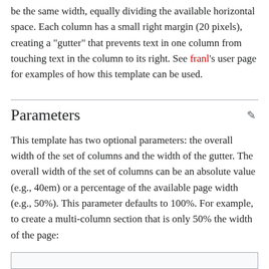be the same width, equally dividing the available horizontal space. Each column has a small right margin (20 pixels), creating a "gutter" that prevents text in one column from touching text in the column to its right. See franl's user page for examples of how this template can be used.
Parameters
This template has two optional parameters: the overall width of the set of columns and the width of the gutter. The overall width of the set of columns can be an absolute value (e.g., 40em) or a percentage of the available page width (e.g., 50%). This parameter defaults to 100%. For example, to create a multi-column section that is only 50% the width of the page: